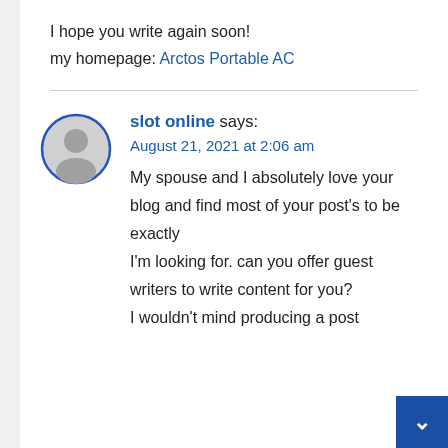I hope you write again soon!
my homepage: Arctos Portable AC
slot online says:
August 21, 2021 at 2:06 am
My spouse and I absolutely love your blog and find most of your post's to be exactly I'm looking for. can you offer guest writers to write content for you?
I wouldn't mind producing a post